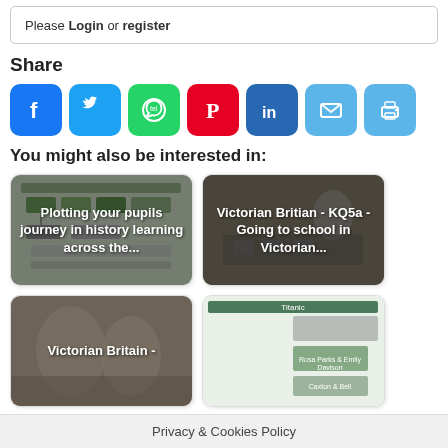Please Login or register
Share
[Figure (infographic): Social sharing icons: Facebook, Twitter, WhatsApp, Pinterest, LinkedIn, Email, Print]
You might also be interested in:
[Figure (screenshot): Card: Plotting your pupils journey in history learning across the...]
[Figure (screenshot): Card: Victorian Britian - KQ5a - Going to school in Victorian...]
[Figure (photo): Card: Victorian Britain -]
[Figure (screenshot): Card with Titanic content]
Privacy & Cookies Policy